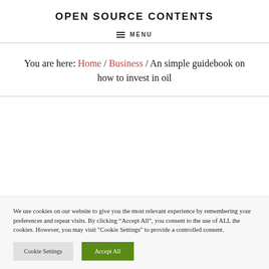OPEN SOURCE CONTENTS
MENU
You are here: Home / Business / An simple guidebook on how to invest in oil
We use cookies on our website to give you the most relevant experience by remembering your preferences and repeat visits. By clicking “Accept All”, you consent to the use of ALL the cookies. However, you may visit "Cookie Settings" to provide a controlled consent.